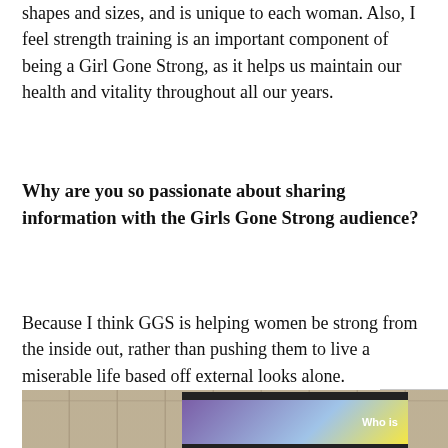shapes and sizes, and is unique to each woman. Also, I feel strength training is an important component of being a Girl Gone Strong, as it helps us maintain our health and vitality throughout all our years.
Why are you so passionate about sharing information with the Girls Gone Strong audience?
Because I think GGS is helping women be strong from the inside out, rather than pushing them to live a miserable life based off external looks alone.
[Figure (photo): A presentation screen displaying 'Who is' text on a purple/yellow background, in what appears to be a room with tiled walls.]